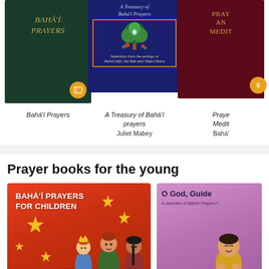[Figure (photo): Book cover: Bahá'í Prayers - dark green leather cover with gold italic text]
[Figure (photo): Book cover: A Treasury of Bahá'í Prayers - dark blue cover with tree illustration and decorative border]
[Figure (photo): Book cover: Prayers and Meditations - dark red cover with gold text (partially visible)]
Bahá'í Prayers
A Treasury of Bahá'í prayers
Juliet Mabey
Prayers and Meditations
Bahá'...
Prayer books for the young
[Figure (photo): Book cover: Bahá'í Prayers for Children - red/orange cover with illustrated children and gold stars]
[Figure (photo): Book cover: O God, Guide - pink/purple cover with illustrated child (partially visible)]